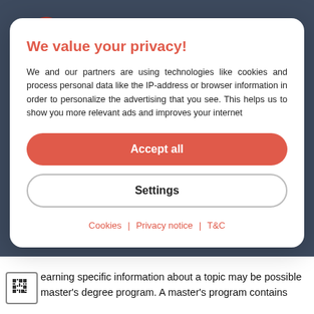[Figure (logo): Keystone Online Studies logo with hamburger menu and navigation icons]
We value your privacy!
We and our partners are using technologies like cookies and process personal data like the IP-address or browser information in order to personalize the advertising that you see. This helps us to show you more relevant ads and improves your internet
Accept all
Settings
Cookies | Privacy notice | T&C
earning specific information about a topic may be possible master's degree program. A master's program contains